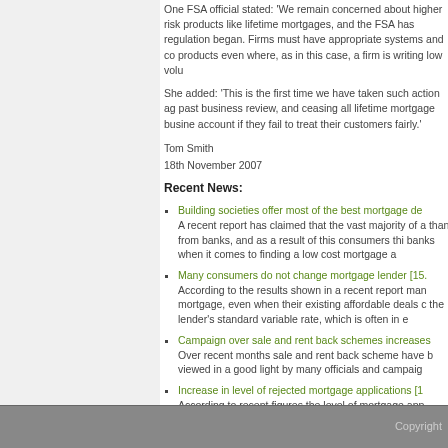One FSA official stated: 'We remain concerned about higher risk products like lifetime mortgages, and the FSA has regulation began. Firms must have appropriate systems and co products even where, as in this case, a firm is writing low volu
She added: 'This is the first time we have taken such action ag past business review, and ceasing all lifetime mortgage busine account if they fail to treat their customers fairly.'
Tom Smith
18th November 2007
Recent News:
Building societies offer most of the best mortgage de A recent report has claimed that the vast majority of a than from banks, and as a result of this consumers thi banks when it comes to finding a low cost mortgage a
Many consumers do not change mortgage lender [15. According to the results shown in a recent report man mortgage, even when their existing affordable deals c the lender's standard variable rate, which is often in e
Campaign over sale and rent back schemes increases Over recent months sale and rent back scheme have b viewed in a good light by many officials and campaig
Increase in level of rejected mortgage applications [1 According to recent figures the level of mortgage app months.
Insolvency numbers fall again [13.11.07] According to a recent report the number of people tha
Bad credit consumers losing thousands of pounds in s The global credit crunch and the turmoil that has affe over recent months
Copyright